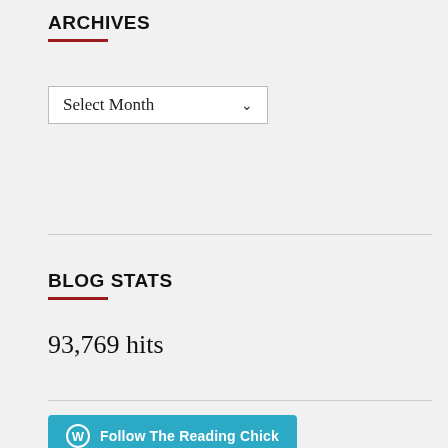ARCHIVES
[Figure (other): A dropdown select box labeled 'Select Month' with a chevron arrow on the right]
BLOG STATS
93,769 hits
[Figure (other): A teal/cyan button with the WordPress logo icon and text 'Follow The Reading Chick']